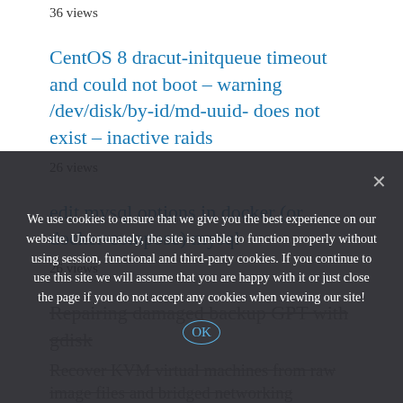36 views
CentOS 8 dracut-initqueue timeout and could not boot – warning /dev/disk/by-id/md-uuid- does not exist – inactive raids
26 views
edit mysql options in docker (or docker-compose) mysql
26 views
Repairing damaged backup GPT with gdisk
Recover KVM virtual machines from raw image files and bridged networking
23 views
How to install new gcc and development
We use cookies to ensure that we give you the best experience on our website. Unfortunately, the site is unable to function properly without using session, functional and third-party cookies. If you continue to use this site we will assume that you are happy with it or just close the page if you do not accept any cookies when viewing our site!